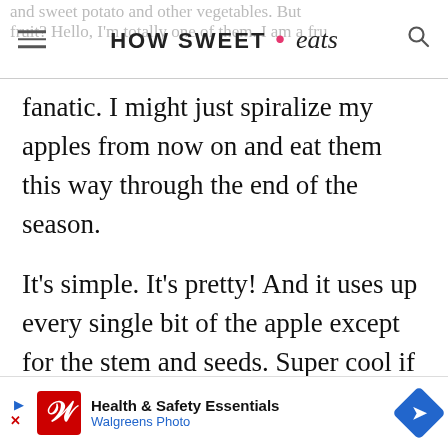HOW SWEET • eats
fanatic. I might just spiralize my apples from now on and eat them this way through the end of the season.
It's simple. It's pretty! And it uses up every single bit of the apple except for the stem and seeds. Super cool if you ask me.
It's not alllll about the apples though. I'm in a major pulled pork mood at the moment. I mean, technically, I guess I'm always in that mood, but lately I've been craving it more often
[Figure (screenshot): Walgreens advertisement banner: Health & Safety Essentials, Walgreens Photo]